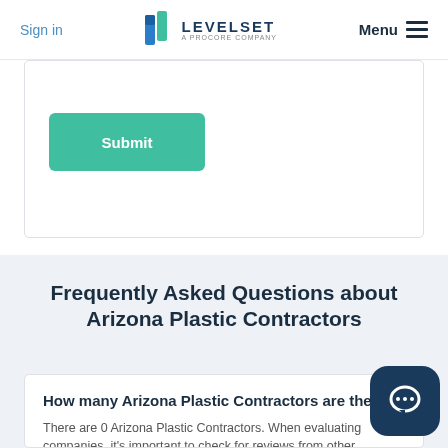Sign in | LEVELSET A PROCORE COMPANY | Menu
[Figure (screenshot): White form card with a teal Submit button]
Frequently Asked Questions about Arizona Plastic Contractors
How many Arizona Plastic Contractors are there?
There are 0 Arizona Plastic Contractors. When evaluating companies, it's important to check for reviews from other